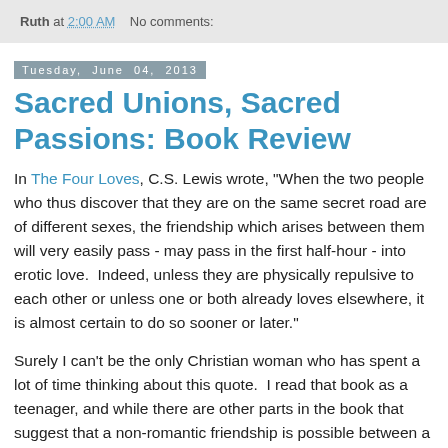Ruth at 2:00 AM    No comments:
Tuesday, June 04, 2013
Sacred Unions, Sacred Passions: Book Review
In The Four Loves, C.S. Lewis wrote, "When the two people who thus discover that they are on the same secret road are of different sexes, the friendship which arises between them will very easily pass - may pass in the first half-hour - into erotic love.  Indeed, unless they are physically repulsive to each other or unless one or both already loves elsewhere, it is almost certain to do so sooner or later."
Surely I can't be the only Christian woman who has spent a lot of time thinking about this quote.  I read that book as a teenager, and while there are other parts in the book that suggest that a non-romantic friendship is possible between a